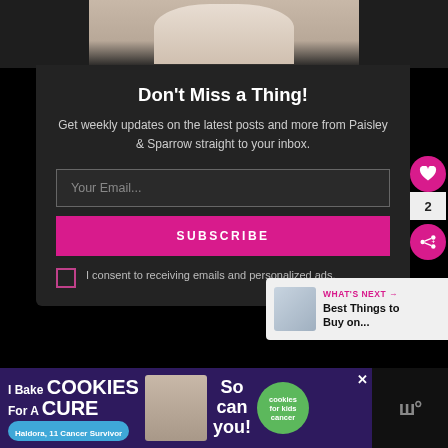[Figure (photo): Partial photo of a person in a cream/beige sweater, cropped at the top of the page]
Don't Miss a Thing!
Get weekly updates on the latest posts and more from Paisley & Sparrow straight to your inbox.
Your Email...
SUBSCRIBE
I consent to receiving emails and personalized ads.
[Figure (other): WHAT'S NEXT arrow label with thumbnail image and text: Best Things to Buy on...]
[Figure (other): Advertisement banner: I Bake COOKIES For A CURE - Haldora, 11 Cancer Survivor - So can you! - cookies for kids cancer logo]